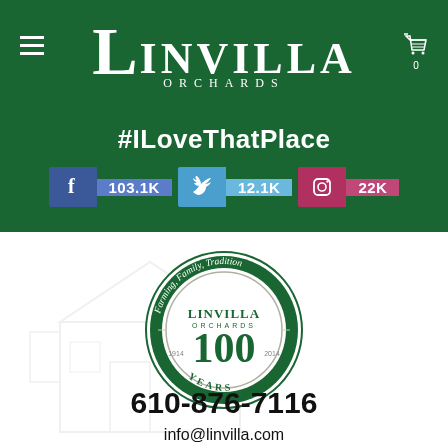Linvilla Orchards
#ILoveThatPlace
Facebook: 103.1K | Twitter: 12.1K | Instagram: 22K
[Figure (logo): Linvilla Orchards 100 Years circular logo — Farming, Family, Tradition — 1914 to 2014]
610-876-7116
info@linvilla.com